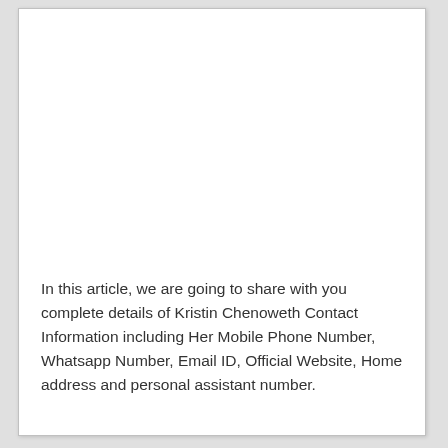In this article, we are going to share with you complete details of Kristin Chenoweth Contact Information including Her Mobile Phone Number, Whatsapp Number, Email ID, Official Website, Home address and personal assistant number.